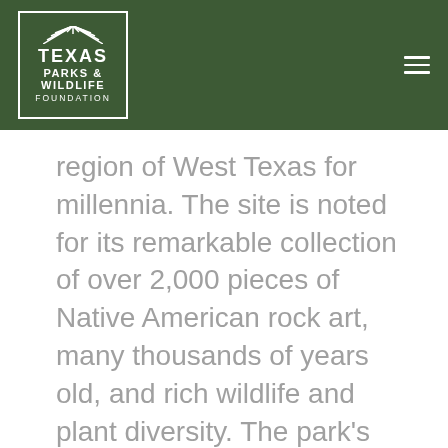[Figure (logo): Texas Parks & Wildlife Foundation logo — white text and decorative sun/star element inside a white rectangular border on dark green background]
region of West Texas for millennia. The site is noted for its remarkable collection of over 2,000 pieces of Native American rock art, many thousands of years old, and rich wildlife and plant diversity. The park's attractions draw visitors from around the world to experience its history and enjoy numerous